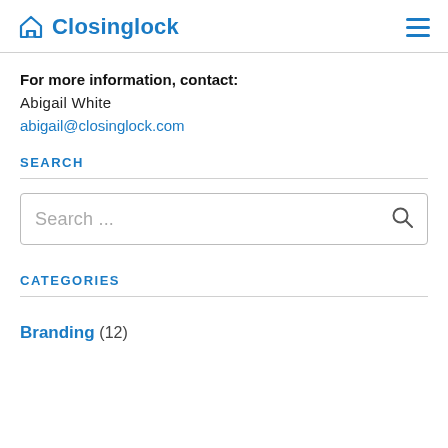Closinglock
For more information, contact:
Abigail White
abigail@closinglock.com
SEARCH
Search ...
CATEGORIES
Branding (12)